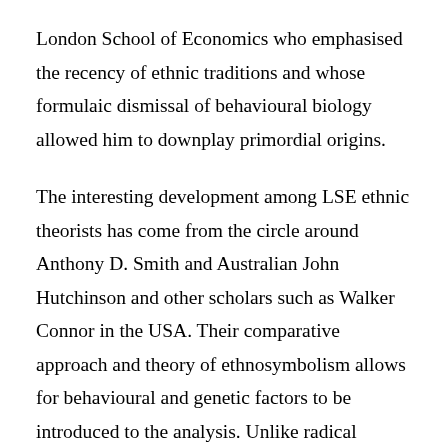London School of Economics who emphasised the recency of ethnic traditions and whose formulaic dismissal of behavioural biology allowed him to downplay primordial origins.
The interesting development among LSE ethnic theorists has come from the circle around Anthony D. Smith and Australian John Hutchinson and other scholars such as Walker Connor in the USA. Their comparative approach and theory of ethnosymbolism allows for behavioural and genetic factors to be introduced to the analysis. Unlike radical theorists they do not criticise Western societies as notably egregious. Smith's seminal contribution has been to show that nation-states develop around ancient ethnic cores.[3]